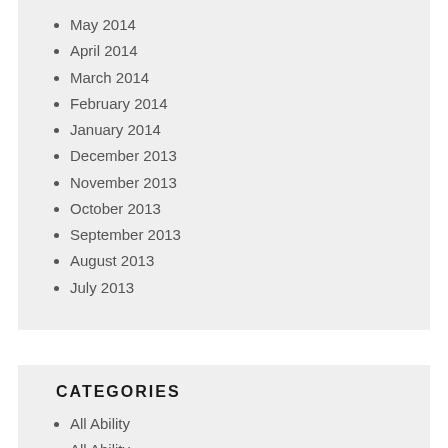May 2014
April 2014
March 2014
February 2014
January 2014
December 2013
November 2013
October 2013
September 2013
August 2013
July 2013
CATEGORIES
All Ability
All Ability
Bowling Arm